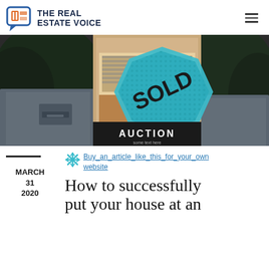THE REAL ESTATE VOICE
[Figure (photo): Outdoor photo of a property with a real estate auction sign showing 'SOLD' banner, with a mailbox and garden greenery in background.]
MARCH 31 2020
Buy_an_article_like_this_for_your_own website
How to successfully